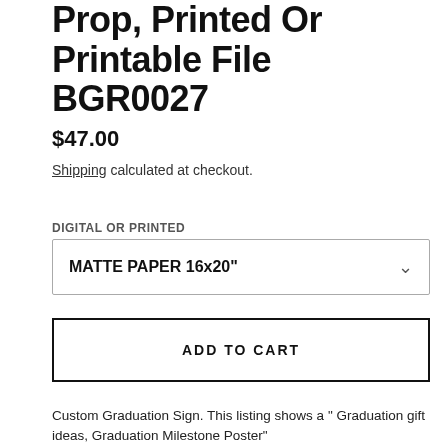Prop, Printed Or Printable File BGR0027
$47.00
Shipping calculated at checkout.
DIGITAL OR PRINTED
MATTE PAPER 16x20"
ADD TO CART
Custom Graduation Sign. This listing shows a " Graduation gift ideas, Graduation Milestone Poster"